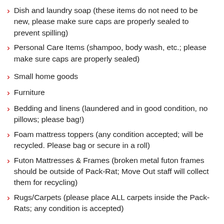Dish and laundry soap (these items do not need to be new, please make sure caps are properly sealed to prevent spilling)
Personal Care Items (shampoo, body wash, etc.; please make sure caps are properly sealed)
Small home goods
Furniture
Bedding and linens (laundered and in good condition, no pillows; please bag!)
Foam mattress toppers (any condition accepted; will be recycled. Please bag or secure in a roll)
Futon Mattresses & Frames (broken metal futon frames should be outside of Pack-Rat; Move Out staff will collect them for recycling)
Rugs/Carpets (please place ALL carpets inside the Pack-Rats; any condition is accepted)